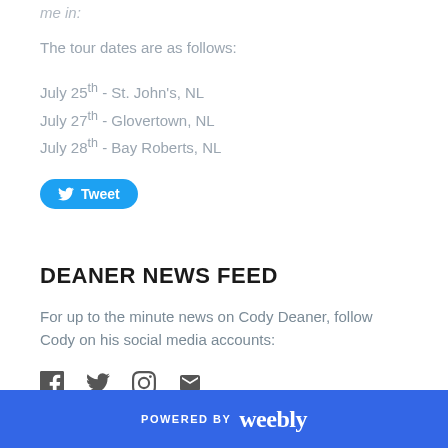me in:
The tour dates are as follows:
July 25th - St. John's, NL
July 27th - Glovertown, NL
July 28th - Bay Roberts, NL
[Figure (other): Twitter Tweet button]
DEANER NEWS FEED
For up to the minute news on Cody Deaner, follow Cody on his social media accounts:
[Figure (other): Social media icons: Facebook, Twitter, Instagram, Email]
POWERED BY weebly